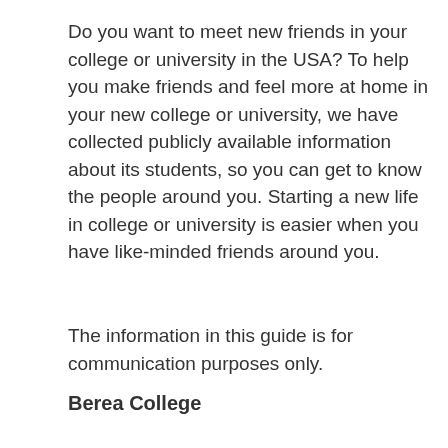Do you want to meet new friends in your college or university in the USA? To help you make friends and feel more at home in your new college or university, we have collected publicly available information about its students, so you can get to know the people around you. Starting a new life in college or university is easier when you have like-minded friends around you.
The information in this guide is for communication purposes only.
Berea College
Liberal arts college in Berea, Kentucky
Berea College is a private liberal arts work